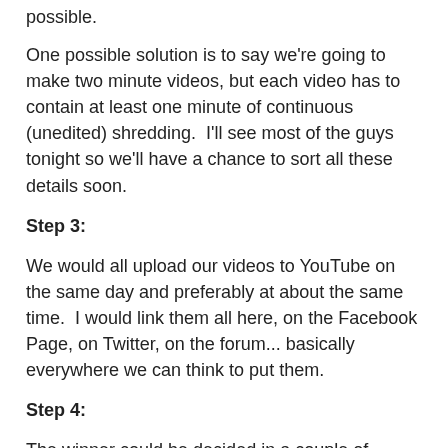possible.
One possible solution is to say we're going to make two minute videos, but each video has to contain at least one minute of continuous (unedited) shredding.  I'll see most of the guys tonight so we'll have a chance to sort all these details soon.
Step 3:
We would all upload our videos to YouTube on the same day and preferably at about the same time.  I would link them all here, on the Facebook Page, on Twitter, on the forum... basically everywhere we can think to put them.
Step 4:
The winner could be decided in a couple of different ways, but one way or the other it would come down to a vote from the Myachi Maniacs.  It could be based on You-Tube likes, it could be based on total views or we could just make a poll where you could vote here, on Facebook or on the forum...